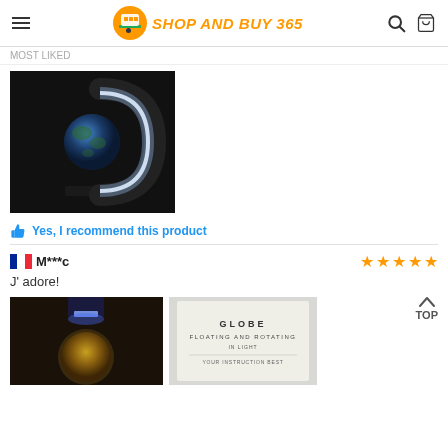SHOP AND BUY 365
MOST LIKED
[Figure (photo): Magnetic levitating globe with C-shaped illuminated stand in dark room]
Yes, I recommend this product
M***c — J' adore! — 4 stars
[Figure (photo): Floating globe with blue LED light and gold globe]
[Figure (photo): Globe floating and rotating instruction paper with text GLOBE FLOATING AND ROTATING]